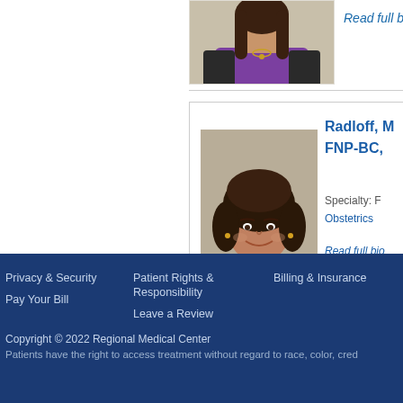[Figure (photo): Partial view of a female healthcare provider in a purple shirt, photo cropped at top]
Read full bio
[Figure (photo): Photo of Radloff, a female healthcare provider with dark curly hair wearing a gray sweater, smiling]
Radloff, M. FNP-BC,
Specialty: F
Obstetrics
Read full bio
Privacy & Security
Patient Rights & Responsibility
Billing & Insurance
Pay Your Bill
Leave a Review
Copyright © 2022 Regional Medical Center
Patients have the right to access treatment without regard to race, color, cred